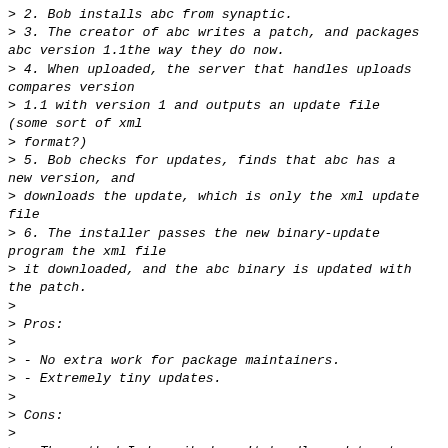>    2. Bob installs abc from synaptic.
>    3. The creator of abc writes a patch, and packages abc version 1.1the way they do now.
>    4. When uploaded, the server that handles uploads compares version
>    1.1 with version 1 and outputs an update file (some sort of xml
>    format?)
>    5. Bob checks for updates, finds that abc has a new version, and
>    downloads the update, which is only the xml update file
>    6. The installer passes the new binary-update program the xml file
>    it downloaded, and the abc binary is updated with the patch.
>
> Pros:
>
>     - No extra work for package maintainers.
>     - Extremely tiny updates.
>
> Cons:
>
>     - The method I described can't handle updates to non-binary files
>    (help files, icons, etc.) This would have to be integrated somehow.
>     - The framework would take considerable effort by the devs to set